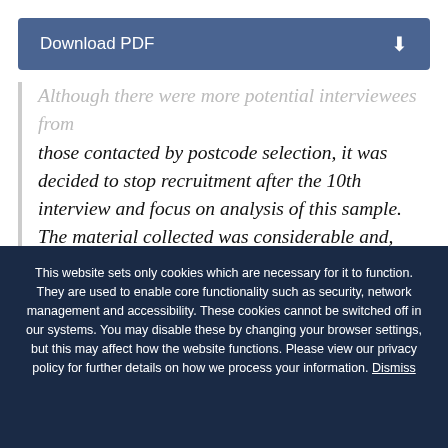Download PDF
Although there were more potential interviewees from those contacted by postcode selection, it was decided to stop recruitment after the 10th interview and focus on analysis of this sample. The material collected was considerable and, given the focused nature of the study, extremely detailed. Moreover, a high degree of
This website sets only cookies which are necessary for it to function. They are used to enable core functionality such as security, network management and accessibility. These cookies cannot be switched off in our systems. You may disable these by changing your browser settings, but this may affect how the website functions. Please view our privacy policy for further details on how we process your information. Dismiss